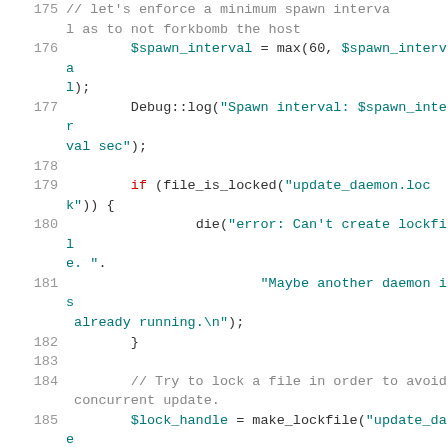Code listing lines 175-188, PHP source code showing spawn interval logic, file lock checking, and lockfile creation.